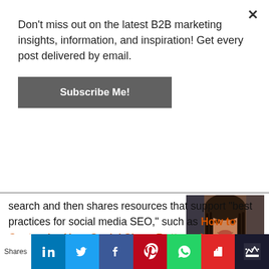Don't miss out on the latest B2B marketing insights, information, and inspiration! Get every post delivered by email.
Subscribe Me!
search and then shares resources that support “best practices for social media SEO,” such as How to Customize Your Social Share Buttons for Increased Traffic, which “walks you through the process of pre-populating social media share buttons for Twitter, Google+, LinkedIn, Pinterest and Facebook with links to your own website.”
[Figure (photo): Portrait photo of a woman with braided hair]
Shares